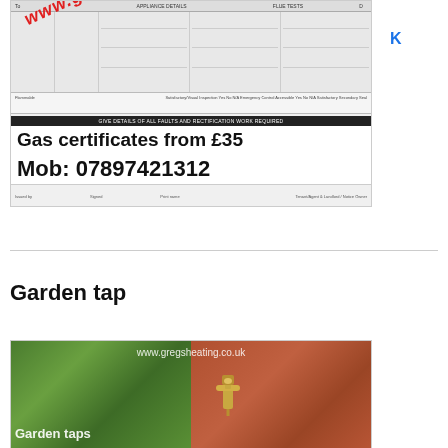[Figure (photo): Gas safety certificate form image with watermark www.gregshe... in red diagonal text, showing APPLIANCE DETAILS and FLUE TESTS headers, form grid lines, and overlaid text: 'Gas certificates from £35' and 'Mob: 07897421312']
Garden tap
[Figure (photo): Split image: left half shows green grass/turf with www.gregsheating.co.uk watermark text and 'Garden taps' label in white; right half shows a brick wall with a brass garden tap installed]